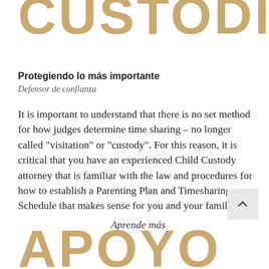CUSTODIA
Protegiendo lo más importante
Defensor de confianza
It is important to understand that there is no set method for how judges determine time sharing – no longer called "visitation" or "custody". For this reason, it is critical that you have an experienced Child Custody attorney that is familiar with the law and procedures for how to establish a Parenting Plan and Timesharing Schedule that makes sense for you and your family.
Aprende más
APOYO